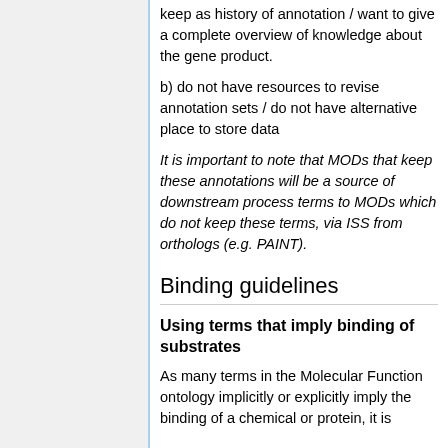keep as history of annotation / want to give a complete overview of knowledge about the gene product.
b) do not have resources to revise annotation sets / do not have alternative place to store data
It is important to note that MODs that keep these annotations will be a source of downstream process terms to MODs which do not keep these terms, via ISS from orthologs (e.g. PAINT).
Binding guidelines
Using terms that imply binding of substrates
As many terms in the Molecular Function ontology implicitly or explicitly imply the binding of a chemical or protein, it is